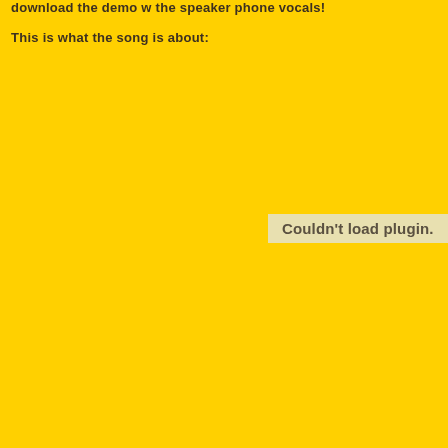download the demo w the speaker phone vocals!
This is what the song is about:
Couldn't load plugin.